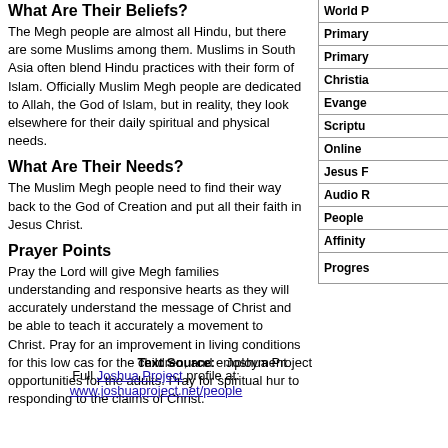What Are Their Beliefs?
The Megh people are almost all Hindu, but there are some Muslims among them. Muslims in South Asia often blend Hindu practices with their form of Islam. Officially Muslim Megh people are dedicated to Allah, the God of Islam, but in reality, they look elsewhere for their daily spiritual and physical needs.
What Are Their Needs?
The Muslim Megh people need to find their way back to the God of Creation and put all their faith in Jesus Christ.
Prayer Points
Pray the Lord will give Megh families understanding and responsive hearts as they will accurately understand the message of Christ and be able to teach it accurately a movement to Christ. Pray for an improvement in living conditions for this low cas for the children, and employment opportunities for the adults. Pray for spiritual hur to responding to the claims of Christ.
Text Source:   Joshua Project
Full Joshua Project profile at: www.joshuaproject.net/people
| Field |
| --- |
| World P |
| Primary |
| Primary |
| Christia |
| Evange |
| Scriptu |
| Online |
| Jesus F |
| Audio R |
| People |
| Affinity |
| Progres |